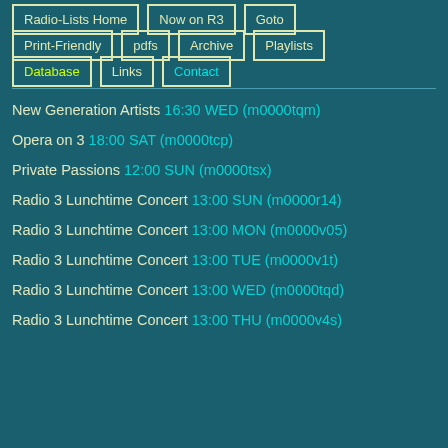Radio-Lists Home
Now on R3
Goto
Print-Friendly
pdfs
Archive
Playlists
Database
Links
Contact
New Generation Artists 16:30 WED (m0000tqm)
Opera on 3 18:00 SAT (m0000tcp)
Private Passions 12:00 SUN (m0000tsx)
Radio 3 Lunchtime Concert 13:00 SUN (m0000r14)
Radio 3 Lunchtime Concert 13:00 MON (m0000v05)
Radio 3 Lunchtime Concert 13:00 TUE (m0000v1t)
Radio 3 Lunchtime Concert 13:00 WED (m0000tqd)
Radio 3 Lunchtime Concert 13:00 THU (m0000v4s)